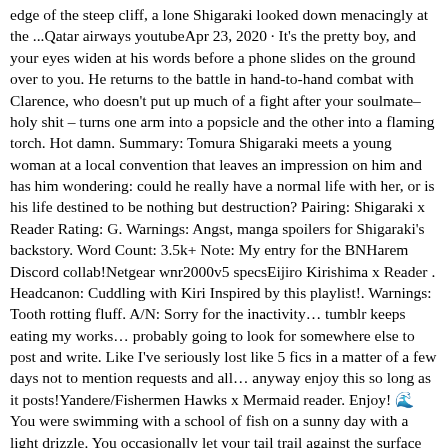edge of the steep cliff, a lone Shigaraki looked down menacingly at the ...Qatar airways youtubeApr 23, 2020 · It's the pretty boy, and your eyes widen at his words before a phone slides on the ground over to you. He returns to the battle in hand-to-hand combat with Clarence, who doesn't put up much of a fight after your soulmate–holy shit – turns one arm into a popsicle and the other into a flaming torch. Hot damn. Summary: Tomura Shigaraki meets a young woman at a local convention that leaves an impression on him and has him wondering: could he really have a normal life with her, or is his life destined to be nothing but destruction? Pairing: Shigaraki x Reader Rating: G. Warnings: Angst, manga spoilers for Shigaraki's backstory. Word Count: 3.5k+ Note: My entry for the BNHarem Discord collab!Netgear wnr2000v5 specsEijiro Kirishima x Reader . Headcanon: Cuddling with Kiri Inspired by this playlist!. Warnings: Tooth rotting fluff. A/N: Sorry for the inactivity… tumblr keeps eating my works… probably going to look for somewhere else to post and write. Like I've seriously lost like 5 fics in a matter of a few days not to mention requests and all… anyway enjoy this so long as it posts!Yandere/Fishermen Hawks x Mermaid reader. Enjoy! 🌊You were swimming with a school of fish on a sunny day with a light drizzle. You occasionally let your tail trail against the surface so you can feel the drizzle. 🌊You didnt expect the sharp spear to peirce your tail. 🌊You flail and splash to try and escape.Martingale ea mt4 free downloadGo2bank atm depositIs 80k a good salary in